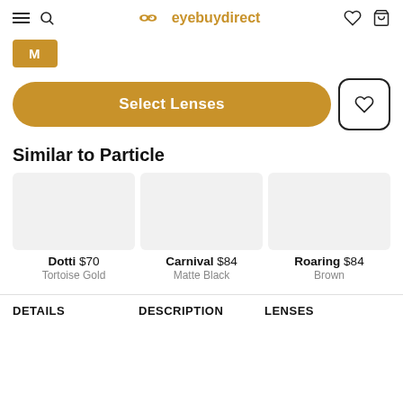eyebuydirect
M
Select Lenses
Similar to Particle
[Figure (photo): Product image placeholder for Dotti glasses]
Dotti $70
Tortoise Gold
[Figure (photo): Product image placeholder for Carnival glasses]
Carnival $84
Matte Black
[Figure (photo): Product image placeholder for Roaring glasses]
Roaring $84
Brown
DETAILS
DESCRIPTION
LENSES